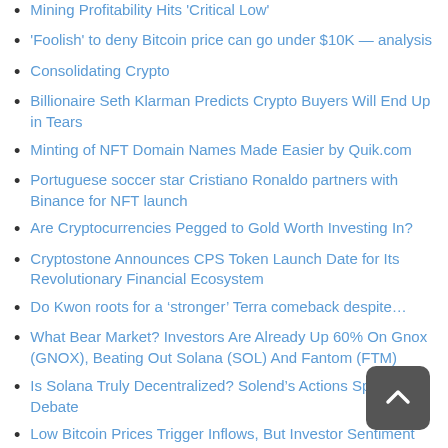Mining Profitability Hits 'Critical Low'
'Foolish' to deny Bitcoin price can go under $10K — analysis
Consolidating Crypto
Billionaire Seth Klarman Predicts Crypto Buyers Will End Up in Tears
Minting of NFT Domain Names Made Easier by Quik.com
Portuguese soccer star Cristiano Ronaldo partners with Binance for NFT launch
Are Cryptocurrencies Pegged to Gold Worth Investing In?
Cryptostone Announces CPS Token Launch Date for Its Revolutionary Financial Ecosystem
Do Kwon roots for a ‘stronger’ Terra comeback despite…
What Bear Market? Investors Are Already Up 60% On Gnox (GNOX), Beating Out Solana (SOL) And Fantom (FTM)
Is Solana Truly Decentralized? Solend’s Actions Sparks Debate
Low Bitcoin Prices Trigger Inflows, But Investor Sentiment Remains Weak